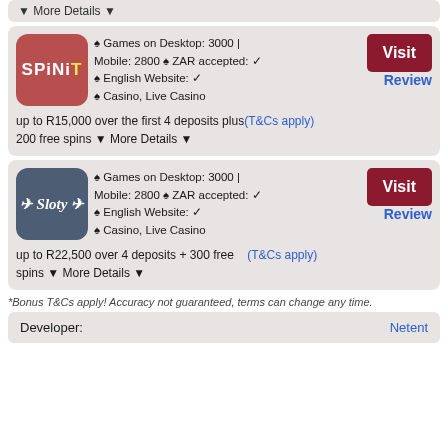▼ More Details ▼
♠ Games on Desktop: 3000 | Mobile: 2800 ♠ ZAR accepted: ✓ ♠ English Website: ✓ ♠ Casino, Live Casino
up to R15,000 over the first 4 deposits plus 200 free spins ▼ More Details ▼ (T&Cs apply)
♠ Games on Desktop: 3000 | Mobile: 2800 ♠ ZAR accepted: ✓ ♠ English Website: ✓ ♠ Casino, Live Casino
up to R22,500 over 4 deposits + 300 free spins ▼ More Details ▼ (T&Cs apply)
*Bonus T&Cs apply! Accuracy not guaranteed, terms can change any time.
| Developer: | Netent |
| --- | --- |